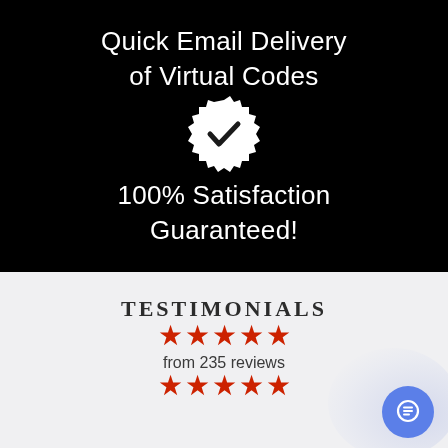Quick Email Delivery of Virtual Codes
[Figure (illustration): White verified/checkmark badge icon on black background]
100% Satisfaction Guaranteed!
TESTIMONIALS
★★★★★
from 235 reviews
★★★★★